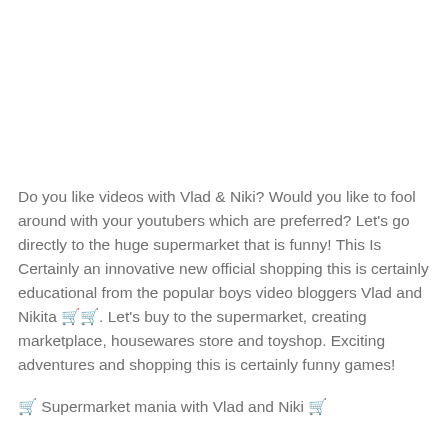Do you like videos with Vlad & Niki? Would you like to fool around with your youtubers which are preferred? Let's go directly to the huge supermarket that is funny! This Is Certainly an innovative new official shopping this is certainly educational from the popular boys video bloggers Vlad and Nikita 🛒🛒. Let's buy to the supermarket, creating marketplace, housewares store and toyshop. Exciting adventures and shopping this is certainly funny games!
🛒 Supermarket mania with Vlad and Niki 🛒